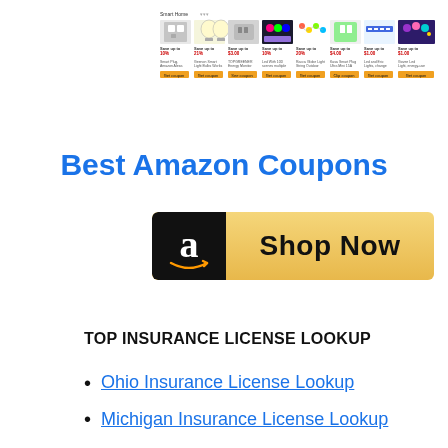[Figure (screenshot): Amazon Smart Home coupons banner showing 8 product thumbnails (smart plugs, light bulbs, outlets, RGB lights, LED strips) each with 'Save up to' percentage or dollar amount labels and 'Get Coupon' buttons]
Best Amazon Coupons
[Figure (illustration): Amazon 'Shop Now' button with black Amazon logo box on the left and gold/yellow gradient background with bold 'Shop Now' text]
TOP INSURANCE LICENSE LOOKUP
Ohio Insurance License Lookup
Michigan Insurance License Lookup